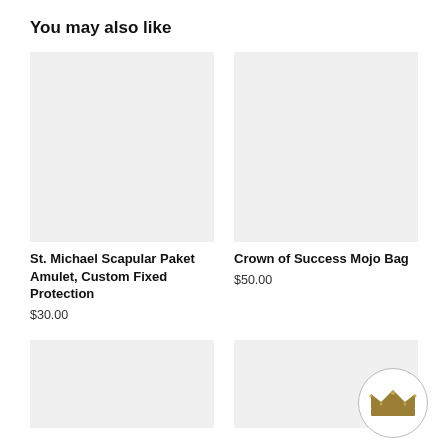You may also like
[Figure (photo): Product image placeholder (light gray rectangle) for St. Michael Scapular Paket Amulet]
St. Michael Scapular Paket Amulet, Custom Fixed Protection
$30.00
[Figure (photo): Product image placeholder (light gray rectangle) for Crown of Success Mojo Bag]
Crown of Success Mojo Bag
$50.00
[Figure (photo): Product image placeholder (light gray rectangle), bottom-left product]
[Figure (photo): Product image placeholder (light gray rectangle), bottom-right product, with a circular crown logo/image in the bottom-right corner]